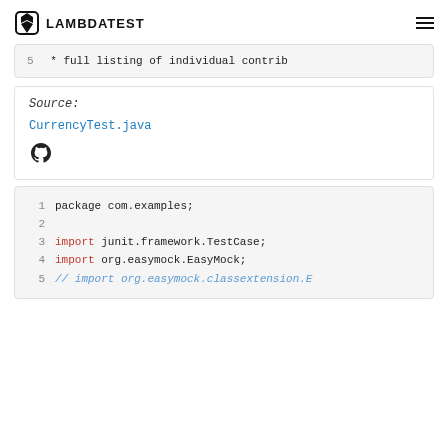LAMBDATEST
5    * full listing of individual contrib
Source:
CurrencyTest.java
1   package com.examples;
2
3   import junit.framework.TestCase;
4   import org.easymock.EasyMock;
5   // import org.easymock.classextension.E